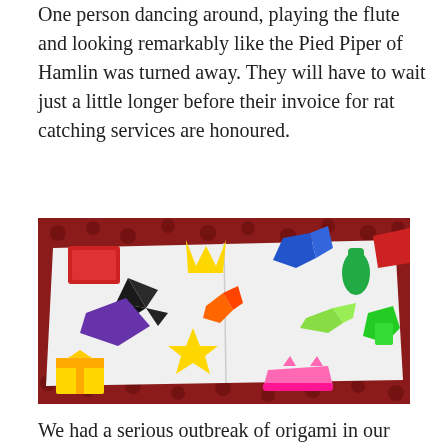One person dancing around, playing the flute and looking remarkably like the Pied Piper of Hamlin was turned away. They will have to wait just a little longer before their invoice for rat catching services are honoured.
[Figure (photo): A photograph of various colorful origami paper figures (star, crane, boat, fish, bird shapes) in red, yellow, blue, green, purple, pink, orange, black colors arranged on a white sheet of paper, with a red floral patterned tablecloth in the background.]
We had a serious outbreak of origami in our house over